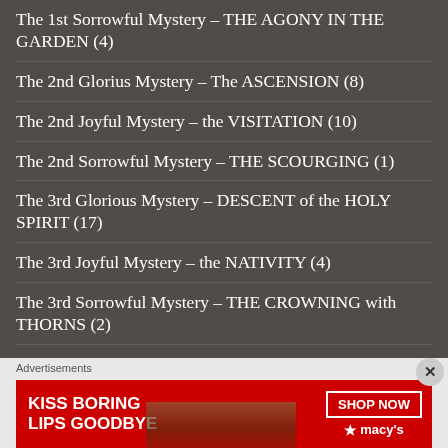The 1st Sorrowful Mystery – THE AGONY IN THE GARDEN (4)
The 2nd Glorius Mystery – The ASCENSION (8)
The 2nd Joyful Mystery – the VISITATION (10)
The 2nd Sorrowful Mystery – THE SCOURGING (1)
The 3rd Glorious Mystery – DESCENT of the HOLY SPIRIT (17)
The 3rd Joyful Mystery – the NATIVITY (4)
The 3rd Sorrowful Mystery – THE CROWNING with THORNS (2)
The 4th Glorious Mystery – The ASSUMPTION (15)
Advertisements
[Figure (photo): Macy's advertisement banner: 'KISS BORING LIPS GOODBYE' with SHOP NOW button and Macy's star logo on red background with model image]